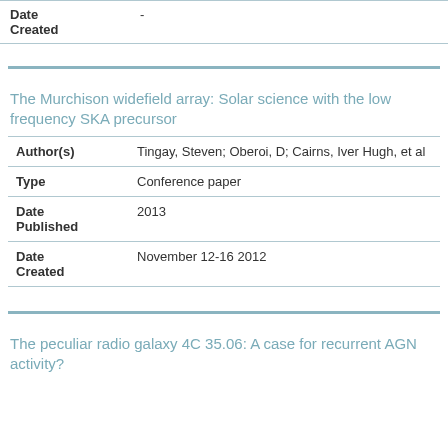| Field | Value |
| --- | --- |
| Date Created | - |
The Murchison widefield array: Solar science with the low frequency SKA precursor
| Field | Value |
| --- | --- |
| Author(s) | Tingay, Steven; Oberoi, D; Cairns, Iver Hugh, et al |
| Type | Conference paper |
| Date Published | 2013 |
| Date Created | November 12-16 2012 |
The peculiar radio galaxy 4C 35.06: A case for recurrent AGN activity?